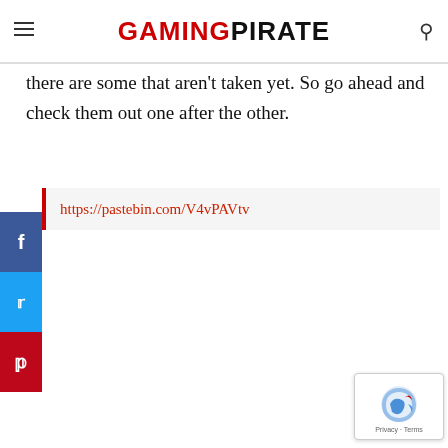GAMING PIRATE
there are some that aren't taken yet. So go ahead and check them out one after the other.
https://pastebin.com/V4vPAVtv